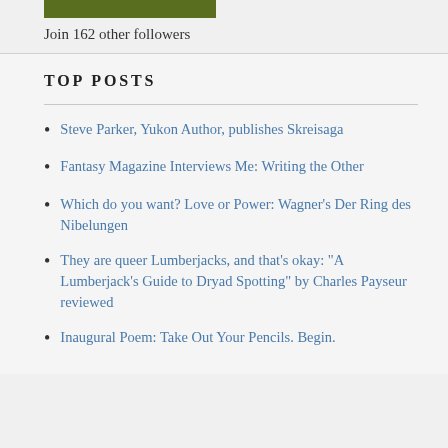[Figure (other): Olive/dark green horizontal bar, partial width]
Join 162 other followers
TOP POSTS
Steve Parker, Yukon Author, publishes Skretsaga
Fantasy Magazine Interviews Me: Writing the Other
Which do you want? Love or Power: Wagner's Der Ring des Nibelungen
They are queer Lumberjacks, and that's okay: "A Lumberjack's Guide to Dryad Spotting" by Charles Payseur reviewed
Inaugural Poem: Take Out Your Pencils. Begin.